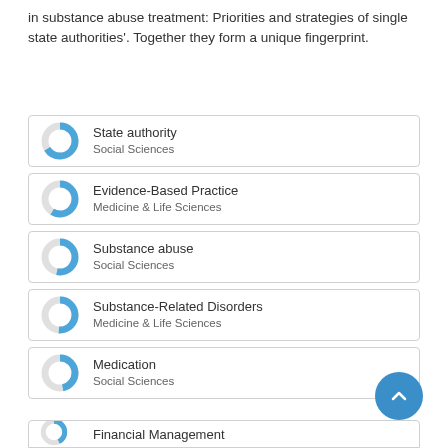in substance abuse treatment: Priorities and strategies of single state authorities'. Together they form a unique fingerprint.
State authority — Social Sciences
Evidence-Based Practice — Medicine & Life Sciences
Substance abuse — Social Sciences
Substance-Related Disorders — Medicine & Life Sciences
Medication — Social Sciences
Financial Management